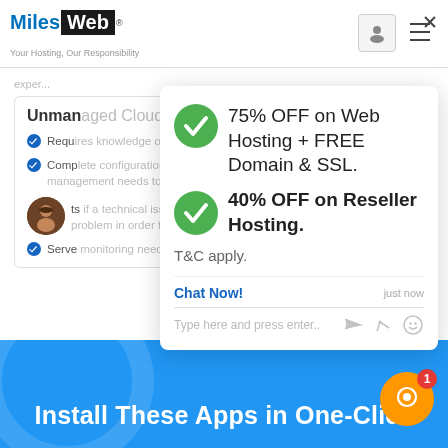MilesWeb — Your Hosting, Our Responsibility
Unmanaged Cloud
Requires knowledge of command line and servers.
Complete configuration/ initial setup of the server and later server management needs to be done by you.
If a technical issue arises, you need to troubleshoot the problem in order to resolve.
Server monitoring needs to be done manually.
[Figure (screenshot): Popup overlay showing promotional offers: 75% OFF on Web Hosting + FREE Domain & SSL, and 40% OFF on Reseller Hosting. T&C apply.]
Chat Now! just now
Type here and press enter..
Install These Apps in One-Click